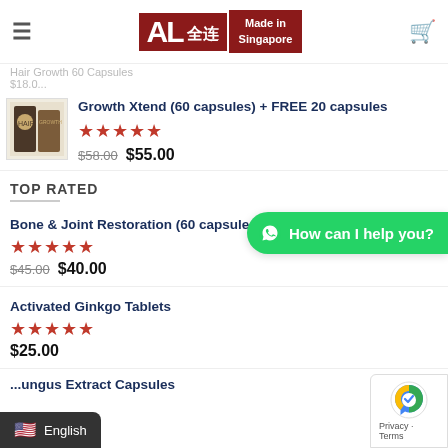AL 全连 — Made in Singapore
Hair Growth 60 Capsules — $18.0...
Growth Xtend (60 capsules) + FREE 20 capsules
★★★★★
$58.00  $55.00
TOP RATED
How can I help you?
Bone & Joint Restoration (60 capsules)
★★★★★
$45.00  $40.00
Activated Ginkgo Tablets
★★★★★
$25.00
...ungus Extract Capsules
English
Privacy · Terms